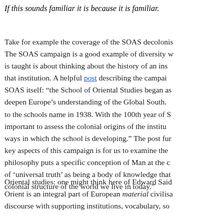If this sounds familiar it is because it is familiar.
Take for example the coverage of the SOAS decolonis... The SOAS campaign is a good example of diversity w... is taught is about thinking about the history of an ins... that institution. A helpful post describing the campai... SOAS itself: “the School of Oriental Studies began as... deepen Europe’s understanding of the Global South.... to the schools name in 1938. With the 100th year of S... important to assess the colonial origins of the institu... ways in which the school is developing.” The post fur... key aspects of this campaign is for us to examine the... philosophy puts a specific conception of Man at the c... of ‘universal truth’ as being a body of knowledge that... colonial structure of the world we live in today.”
Oriental studies: one might think here of Edward Said... Orient is an integral part of European material civilisa... discourse with supporting institutions, vocabulary, so...